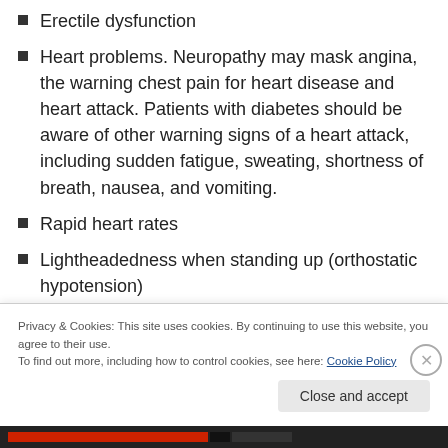Erectile dysfunction
Heart problems. Neuropathy may mask angina, the warning chest pain for heart disease and heart attack. Patients with diabetes should be aware of other warning signs of a heart attack, including sudden fatigue, sweating, shortness of breath, nausea, and vomiting.
Rapid heart rates
Lightheadedness when standing up (orthostatic hypotension)
Privacy & Cookies: This site uses cookies. By continuing to use this website, you agree to their use. To find out more, including how to control cookies, see here: Cookie Policy